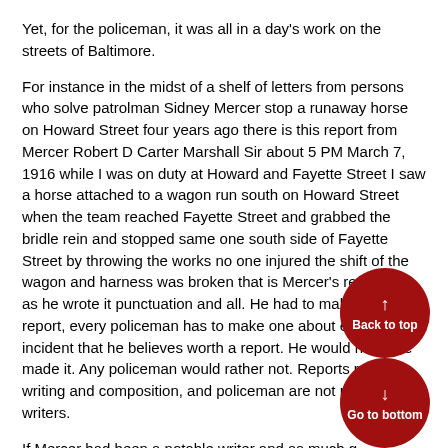Yet, for the policeman, it was all in a day's work on the streets of Baltimore.
For instance in the midst of a shelf of letters from persons who solve patrolman Sidney Mercer stop a runaway horse on Howard Street four years ago there is this report from Mercer Robert D Carter Marshall Sir about 5 PM March 7, 1916 while I was on duty at Howard and Fayette Street I saw a horse attached to a wagon run south on Howard Street when the team reached Fayette Street and grabbed the bridle rein and stopped same one south side of Fayette Street by throwing the works no one injured the shift of the wagon and harness was broken that is Mercer's report just as he wrote it punctuation and all. He had to make the report, every policeman has to make one about every incident that he believes worth a report. He would not have made it. Any policeman would rather not. Reports require writing and composition, and policeman are not notable writers.
If Mercer had been a notable writer and as much given to self-glorification as to hear his him he might have told how